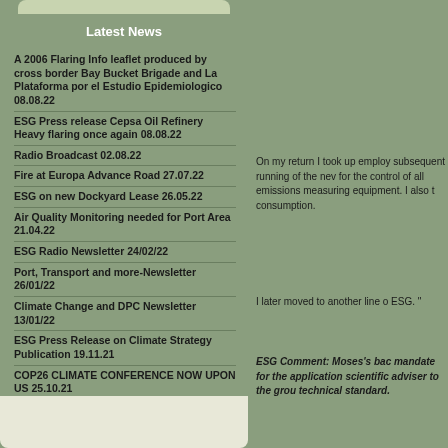Latest News
A 2006 Flaring Info leaflet produced by cross border Bay Bucket Brigade and La Plataforma por el Estudio Epidemiologico 08.08.22
ESG Press release Cepsa Oil Refinery Heavy flaring once again 08.08.22
Radio Broadcast 02.08.22
Fire at Europa Advance Road 27.07.22
ESG on new Dockyard Lease 26.05.22
Air Quality Monitoring needed for Port Area 21.04.22
ESG Radio Newsletter 24/02/22
Port, Transport and more-Newsletter 26/01/22
Climate Change and DPC Newsletter 13/01/22
ESG Press Release on Climate Strategy Publication 19.11.21
COP26 CLIMATE CONFERENCE NOW UPON US 25.10.21
HANDING IN PETITION ON ROSIA BAY 15.10.21 – GIBRALTAR CHRONICLE
On my return I took up employ subsequent running of the nev for the control of all emissions measuring equipment. I also t consumption.
I later moved to another line o ESG. "
ESG Comment: Moses's bac mandate for the application scientific adviser to the grou technical standard.